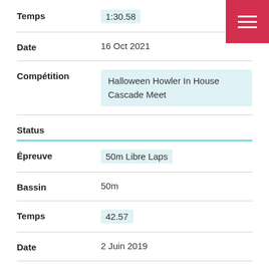Temps: 1:30.58
Date: 16 Oct 2021
Compétition: Halloween Howler In House Cascade Meet
Status
Épreuve: 50m Libre Laps
Bassin: 50m
Temps: 42.57
Date: 2 Juin 2019